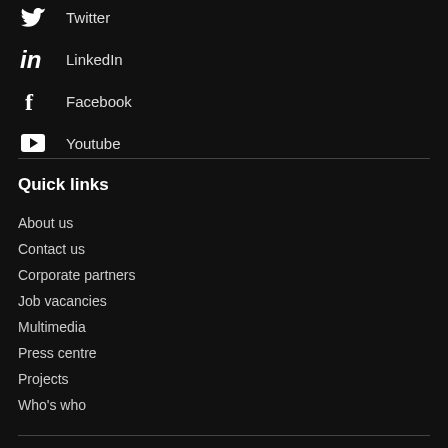Twitter
LinkedIn
Facebook
Youtube
Quick links
About us
Contact us
Corporate partners
Job vacancies
Multimedia
Press centre
Projects
Who's who